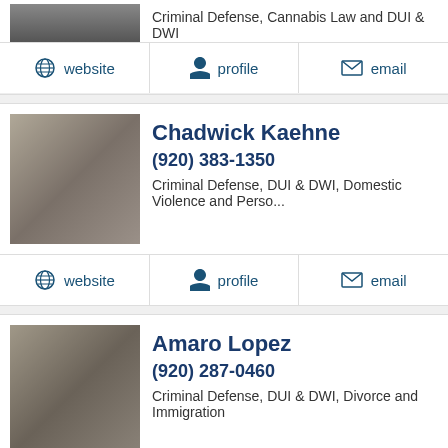Criminal Defense, Cannabis Law and DUI & DWI
website | profile | email
Chadwick Kaehne
(920) 383-1350
Criminal Defense, DUI & DWI, Domestic Violence and Perso...
website | profile | email
Amaro Lopez
(920) 287-0460
Criminal Defense, DUI & DWI, Divorce and Immigration
website | profile | email